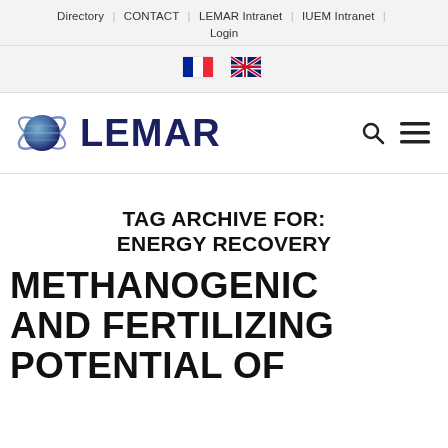Directory | CONTACT | LEMAR Intranet | IUEM Intranet | Login
[Figure (logo): French flag and UK flag icons for language selection]
[Figure (logo): LEMAR logo with globe/orbit icon and LEMAR text in dark navy, with search and hamburger menu icons]
TAG ARCHIVE FOR: ENERGY RECOVERY
METHANOGENIC AND FERTILIZING POTENTIAL OF